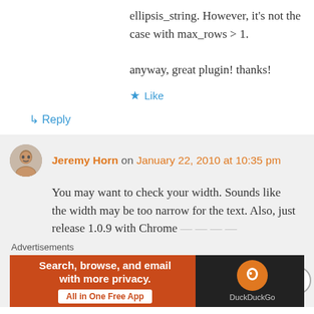ellipsis_string. However, it's not the case with max_rows > 1.
anyway, great plugin! thanks!
★ Like
↳ Reply
Jeremy Horn on January 22, 2010 at 10:35 pm
You may want to check your width. Sounds like the width may be too narrow for the text. Also, just release 1.0.9 with Chrome
Advertisements
[Figure (other): DuckDuckGo advertisement banner: Search, browse, and email with more privacy. All in One Free App. DuckDuckGo logo on right side.]